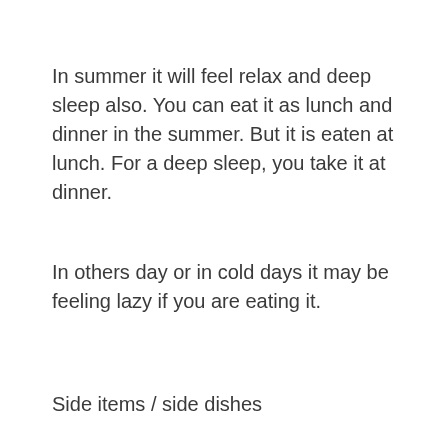In summer it will feel relax and deep sleep also. You can eat it as lunch and dinner in the summer. But it is eaten at lunch. For a deep sleep, you take it at dinner.
In others day or in cold days it may be feeling lazy if you are eating it.
Side items / side dishes